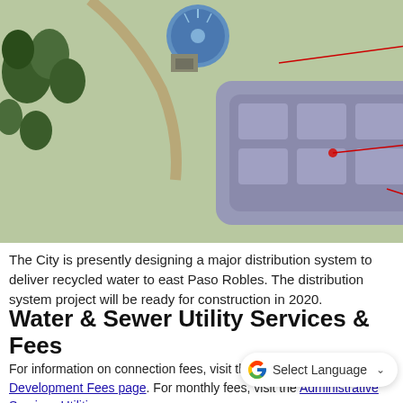[Figure (photo): Aerial photo of a water treatment facility with labeled components: Cloth Filtration (top right), Ultraviolet Light Disinfection (middle right), Storage Pond & Pump Station (bottom right). Red lines point to each labeled area.]
The City is presently designing a major distribution system to deliver recycled water to east Paso Robles. The distribution system project will be ready for construction in 2020.
Water & Sewer Utility Services & Fees
For information on connection fees, visit the Building Division's Development Fees page. For monthly fees, visit the Administrative Services Utility page.